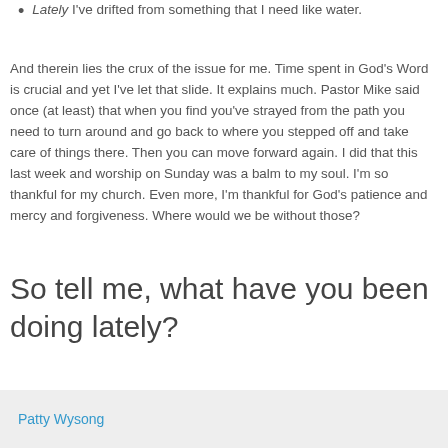Lately I've drifted from something that I need like water.
And therein lies the crux of the issue for me. Time spent in God's Word is crucial and yet I've let that slide. It explains much. Pastor Mike said once (at least) that when you find you've strayed from the path you need to turn around and go back to where you stepped off and take care of things there. Then you can move forward again. I did that this last week and worship on Sunday was a balm to my soul. I'm so thankful for my church. Even more, I'm thankful for God's patience and mercy and forgiveness. Where would we be without those?
So tell me, what have you been doing lately?
Patty Wysong